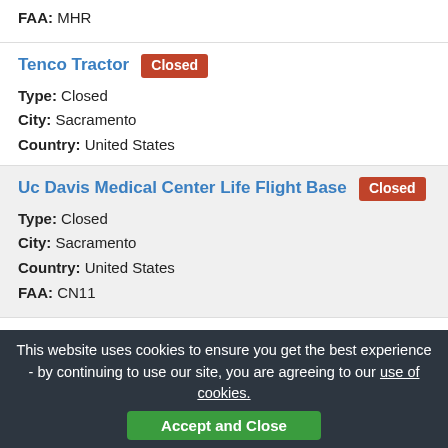FAA: MHR
Tenco Tractor [Closed]
Type: Closed
City: Sacramento
Country: United States
Uc Davis Medical Center Life Flight Base [Closed]
Type: Closed
City: Sacramento
Country: United States
FAA: CN11
UC Davis Medical Center Tower II
Type: Heliport
City: Sacramento
Country: United States
ICAO: 3CL0
FAA: 3CL0
Johnson Private [Closed]
This website uses cookies to ensure you get the best experience - by continuing to use our site, you are agreeing to our use of cookies. Accept and Close